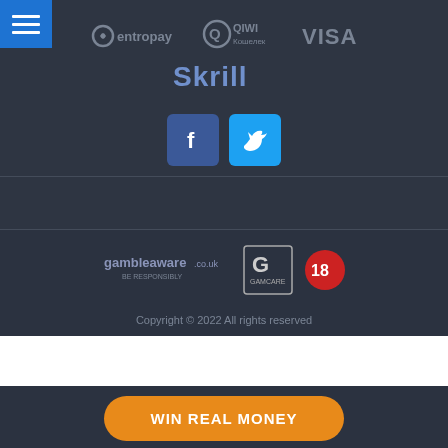[Figure (logo): Blue hamburger menu button top-left]
[Figure (logo): Entropay logo]
[Figure (logo): QIWI Кошелек logo]
[Figure (logo): VISA logo]
[Figure (logo): Skrill logo]
[Figure (logo): Facebook icon square button]
[Figure (logo): Twitter icon square button]
[Figure (logo): GambleAware.co.uk logo]
[Figure (logo): GamCare G logo]
[Figure (logo): 18+ age restriction badge]
Copyright © 2022 All rights reserved
WIN REAL MONEY